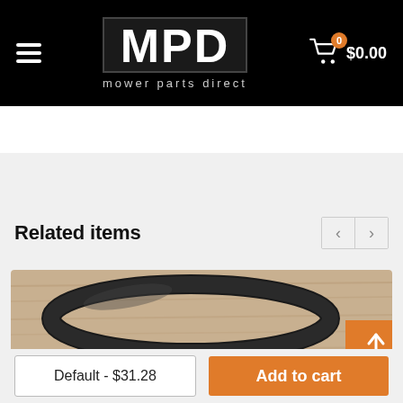MPD mower parts direct — Cart: 0 items $0.00
Related items
[Figure (photo): A black rubber belt or O-ring coiled on a wooden surface]
Default - $31.28
Add to cart